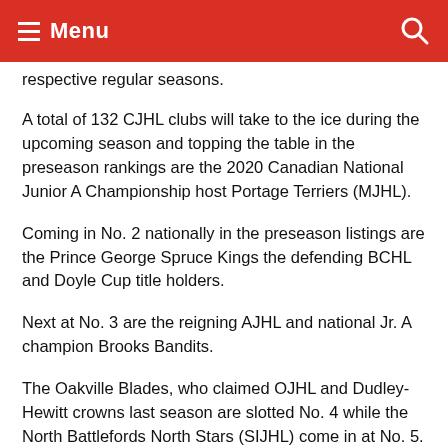Menu
respective regular seasons.
A total of 132 CJHL clubs will take to the ice during the upcoming season and topping the table in the preseason rankings are the 2020 Canadian National Junior A Championship host Portage Terriers (MJHL).
Coming in No. 2 nationally in the preseason listings are the Prince George Spruce Kings the defending BCHL and Doyle Cup title holders.
Next at No. 3 are the reigning AJHL and national Jr. A champion Brooks Bandits.
The Oakville Blades, who claimed OJHL and Dudley-Hewitt crowns last season are slotted No. 4 while the North Battlefords North Stars (SIJHL) come in at No. 5.